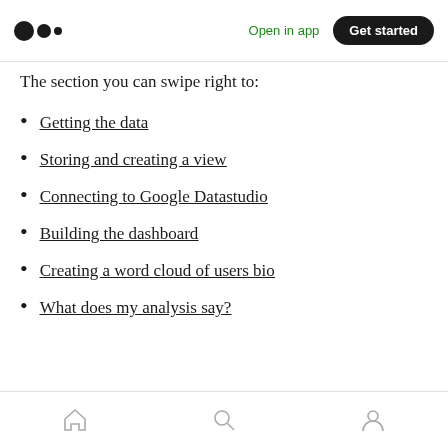Open in app | Get started
The section you can swipe right to:
Getting the data
Storing and creating a view
Connecting to Google Datastudio
Building the dashboard
Creating a word cloud of users bio
What does my analysis say?
Home | Search | Profile